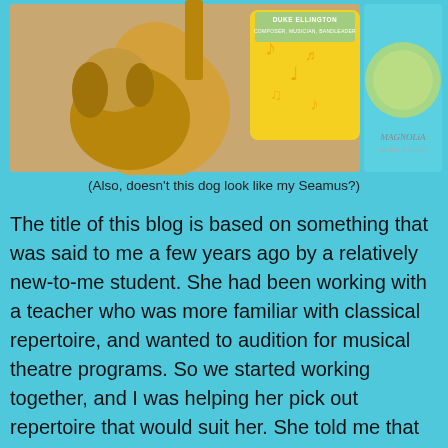[Figure (photo): A dog leaning against an acoustic guitar, alongside a yellow music-note decorated card and a Magnolia Music Studio logo with text 'DUKE ELLINGTON COMPOSER, MUSICIAN, BANDLEADER']
(Also, doesn’t this dog look like my Seamus?)
The title of this blog is based on something that was said to me a few years ago by a relatively new-to-me student. She had been working with a teacher who was more familiar with classical repertoire, and wanted to audition for musical theatre programs. So we started working together, and I was helping her pick out repertoire that would suit her. She told me that one of the colleges also wanted a classical piece. I said, “Oh, okay. We can pick that out too.” She said, “Oh, I know what I want to sing. I’m going to sing, ‘Caro nome.’”